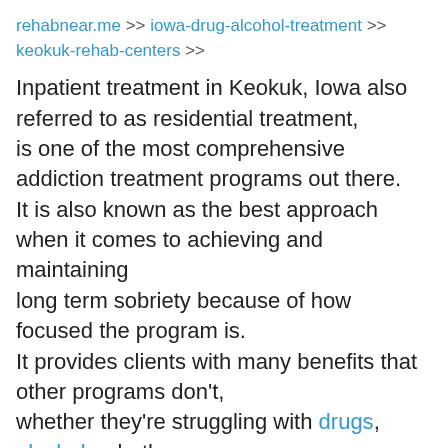rehabnear.me >> iowa-drug-alcohol-treatment >> keokuk-rehab-centers >>
Inpatient treatment in Keokuk, Iowa also referred to as residential treatment, is one of the most comprehensive addiction treatment programs out there. It is also known as the best approach when it comes to achieving and maintaining long term sobriety because of how focused the program is. It provides clients with many benefits that other programs don't, whether they're struggling with drugs, alcohol or both.
Inpatient programs acknowledge that mental health issues go hand in hand with addiction. Inpatient programs acknowledge that mental health issues go hand in hand with addiction. It